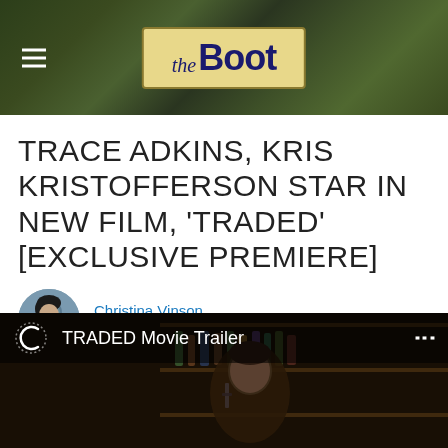[Figure (screenshot): The Boot website header banner with leather background and logo box reading 'the Boot', with hamburger menu icon on the left]
TRACE ADKINS, KRIS KRISTOFFERSON STAR IN NEW FILM, 'TRADED' [EXCLUSIVE PREMIERE]
Christina Vinson
Published: April 27, 2016
[Figure (screenshot): Video thumbnail for TRADED Movie Trailer showing a man in a bar scene with shelves of bottles in background]